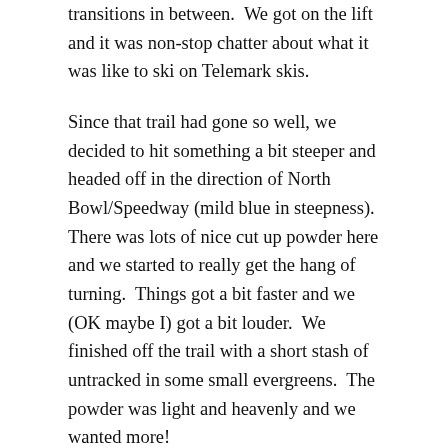transitions in between.  We got on the lift and it was non-stop chatter about what it was like to ski on Telemark skis.
Since that trail had gone so well, we decided to hit something a bit steeper and headed off in the direction of North Bowl/Speedway (mild blue in steepness).  There was lots of nice cut up powder here and we started to really get the hang of turning.  Things got a bit faster and we (OK maybe I) got a bit louder.  We finished off the trail with a short stash of untracked in some small evergreens.  The powder was light and heavenly and we wanted more!
Our time was growing short, and we had just enough time for one more run.  We decided to go for the trifecta and hit a black trail.  We chose Thunder, a standard black run with a few hundred verts of moguls that should be enough to give of the feeling of Telemarking in bumps.  In